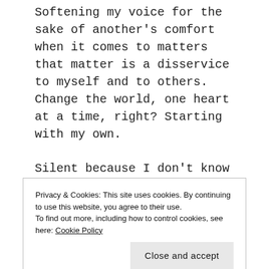Softening my voice for the sake of another's comfort when it comes to matters that matter is a disservice to myself and to others. Change the world, one heart at a time, right? Starting with my own.
Silent because I don't know enough? BS. I'm well educated, intelligent and yearning to learn and see so that I can do better.
I believe strongly that diversity is a beautiful gift. I also intensely believe that unity can be found among diversity; just as peace can be found among chaos.
Privacy & Cookies: This site uses cookies. By continuing to use this website, you agree to their use.
To find out more, including how to control cookies, see here: Cookie Policy
Close and accept
education, experience, god, heart, law abiding,